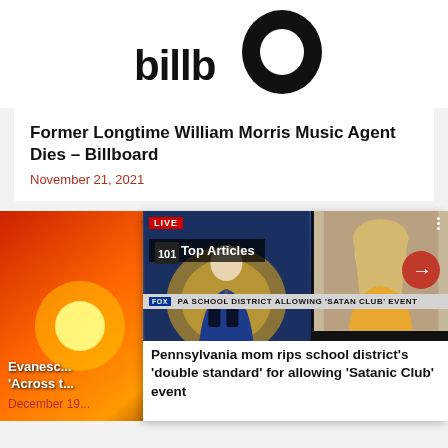[Figure (logo): Billboard magazine logo — black text 'billboard' with large stylized 'b' and circular letter 'o' forming the iconic Billboard wordmark]
Former Longtime William Morris Music Agent Dies – Billboard
November 21, 2021
[Figure (screenshot): A Fox News live broadcast screenshot showing a news anchor on the left and a woman being interviewed on the right, with a 'Top Articles' overlay banner and a lower-third chyron reading 'PA SCHOOL DISTRICT ALLOWING SATANIC CLUB EVENT'. A red arrow button is visible on the right side.]
Pennsylvania mom rips school district's 'double standard' for allowing 'Satanic Club' event
Evanesc... 'Across t...
December 19...